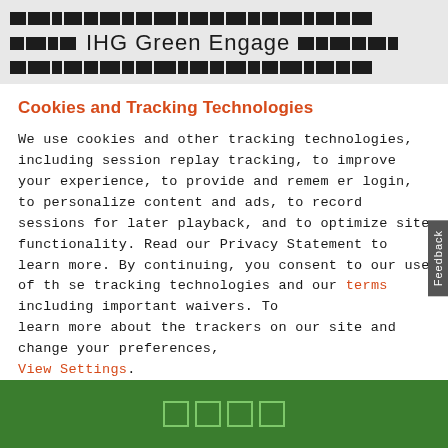[Figure (other): IHG Green Engage logo with barcode-style pattern on grey background header]
Cookies and Tracking Technologies
We use cookies and other tracking technologies, including session replay tracking, to improve your experience, to provide and remember login, to personalize content and ads, to record sessions for later playback, and to optimize site functionality. Read our Privacy Statement to learn more. By continuing, you consent to our use of these tracking technologies and our terms including important waivers. To learn more about the trackers on our site and change your preferences, View Settings.
[Figure (other): ACCEPT button in orange/red]
IHG Green Engage footer with green background and icon squares